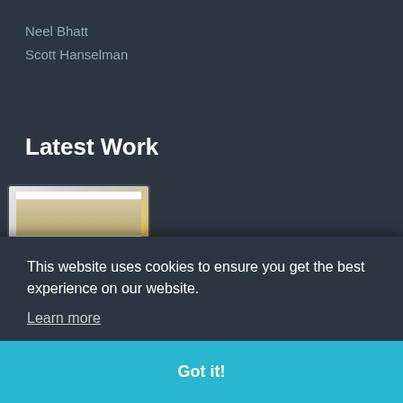Neel Bhatt
Scott Hanselman
Latest Work
[Figure (screenshot): Laptop thumbnail showing a website with food/gelato imagery]
Bacio Gelato
This website uses cookies to ensure you get the best experience on our website.
Learn more
Got it!